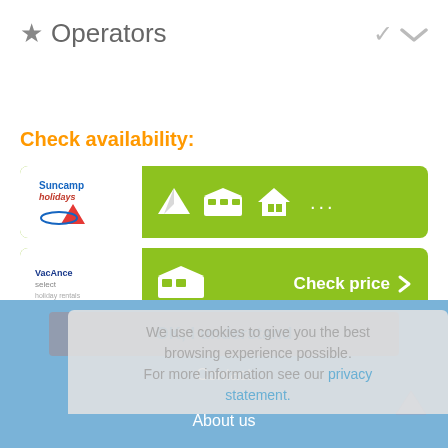★ Operators
Check availability:
[Figure (screenshot): Suncamp Holidays operator bar with tent, mobile home, and house icons and ellipsis on green background]
[Figure (screenshot): Vacanceselect operator bar with mobile home icon and Check price button on green background]
Location
We use cookies to give you the best browsing experience possible. For more information see our privacy statement.
OK, I understand
Contact
About us